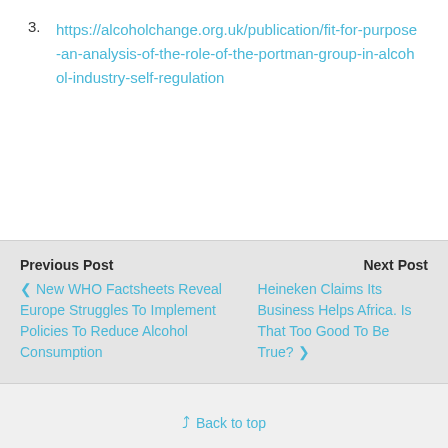3. https://alcoholchange.org.uk/publication/fit-for-purpose-an-analysis-of-the-role-of-the-portman-group-in-alcohol-industry-self-regulation
Previous Post | Next Post
< New WHO Factsheets Reveal Europe Struggles To Implement Policies To Reduce Alcohol Consumption
Heineken Claims Its Business Helps Africa. Is That Too Good To Be True? >
Back to top
Mobile | Desktop